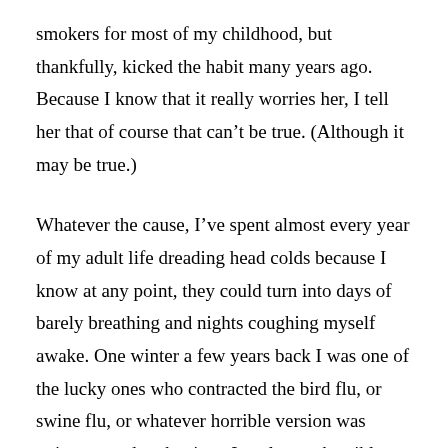smokers for most of my childhood, but thankfully, kicked the habit many years ago. Because I know that it really worries her, I tell her that of course that can't be true. (Although it may be true.)
Whatever the cause, I've spent almost every year of my adult life dreading head colds because I know at any point, they could turn into days of barely breathing and nights coughing myself awake. One winter a few years back I was one of the lucky ones who contracted the bird flu, or swine flu, or whatever horrible version was going around at the time. It truly was horrible. When I watched the Infection episode of